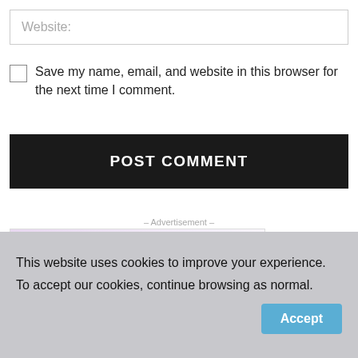Website:
Save my name, email, and website in this browser for the next time I comment.
POST COMMENT
– Advertisement –
[Figure (logo): PRS Property Redress Scheme logo and NRLA endorsed by logo side by side on a purple gradient background]
This website uses cookies to improve your experience.
To accept our cookies, continue browsing as normal.
Accept